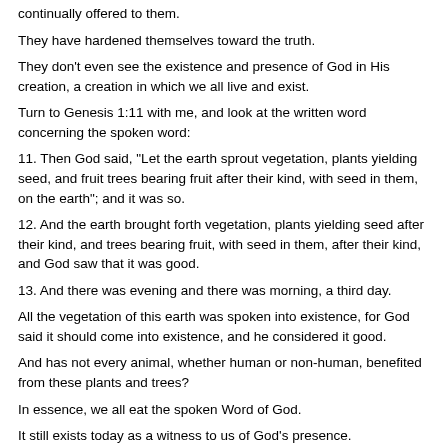continually offered to them.
They have hardened themselves toward the truth.
They don't even see the existence and presence of God in His creation, a creation in which we all live and exist.
Turn to Genesis 1:11 with me, and look at the written word concerning the spoken word:
11. Then God said, "Let the earth sprout vegetation, plants yielding seed, and fruit trees bearing fruit after their kind, with seed in them, on the earth"; and it was so.
12. And the earth brought forth vegetation, plants yielding seed after their kind, and trees bearing fruit, with seed in them, after their kind, and God saw that it was good.
13. And there was evening and there was morning, a third day.
All the vegetation of this earth was spoken into existence, for God said it should come into existence, and he considered it good.
And has not every animal, whether human or non-human, benefited from these plants and trees?
In essence, we all eat the spoken Word of God.
It still exists today as a witness to us of God's presence.
And again He spoke:
14. Then God said, "Let there be lights in the expanse of the heavens to separate the day from the night, and let them be for signs, and for seasons, and